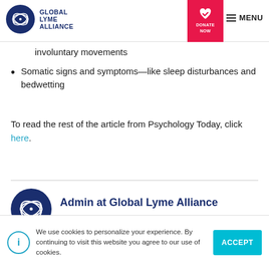Global Lyme Alliance — DONATE NOW — MENU
involuntary movements
Somatic signs and symptoms—like sleep disturbances and bedwetting
To read the rest of the article from Psychology Today, click here.
Admin at Global Lyme Alliance
Global Lyme Alliance
We use cookies to personalize your experience. By continuing to visit this website you agree to our use of cookies.